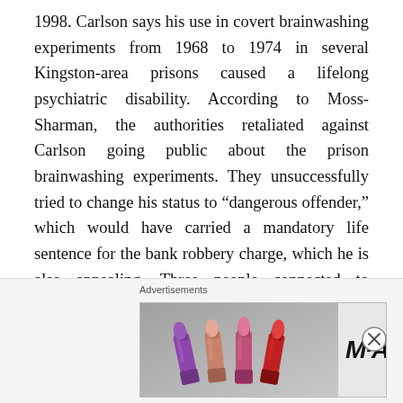1998. Carlson says his use in covert brainwashing experiments from 1968 to 1974 in several Kingston-area prisons caused a lifelong psychiatric disability. According to Moss-Sharman, the authorities retaliated against Carlson going public about the prison brainwashing experiments. They unsuccessfully tried to change his status to “dangerous offender,” which would have carried a mandatory life sentence for the bank robbery charge, which he is also appealing. Three people connected to Carlson have died under mysterious circumstances since he launched his brainwashing claim. They include Tony Vaitelis, the second male inmate to make claims similar to Carlson’s, an unnamed former hospital orderly and
Advertisements
[Figure (photo): MAC cosmetics advertisement showing lipsticks in purple, pink/peach, hot pink, and red colors alongside the MAC logo and a 'SHOP NOW' button.]